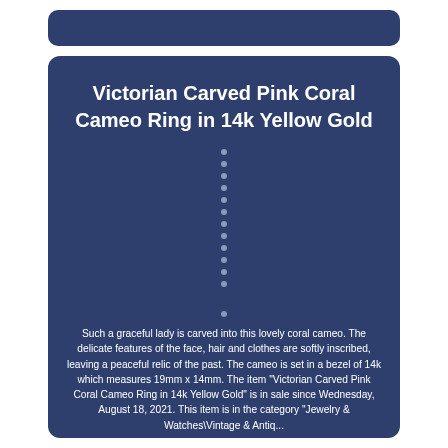Victorian Carved Pink Coral Cameo Ring in 14k Yellow Gold
Such a graceful lady is carved into this lovely coral cameo. The delicate features of the face, hair and clothes are softly inscribed, leaving a peaceful relic of the past. The cameo is set in a bezel of 14k which measures 19mm x 14mm. The item "Victorian Carved Pink Coral Cameo Ring in 14k Yellow Gold" is in sale since Wednesday, August 18, 2021. This item is in the category "Jewelry & Watches\Vintage & Antique...